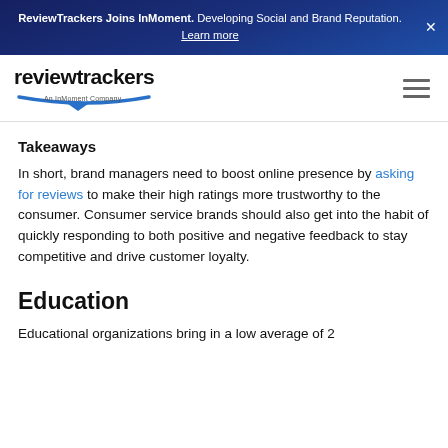ReviewTrackers Joins InMoment. Developing Social and Brand Reputation. Learn more
[Figure (logo): ReviewTrackers logo with tagline 'An InMoment Company' and blue speech bubble underline graphic]
Takeaways
In short, brand managers need to boost online presence by asking for reviews to make their high ratings more trustworthy to the consumer. Consumer service brands should also get into the habit of quickly responding to both positive and negative feedback to stay competitive and drive customer loyalty.
Education
Educational organizations bring in a low average of 2